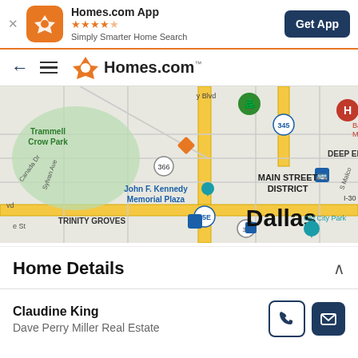[Figure (screenshot): App banner with Homes.com logo, star rating, tagline, and Get App button]
[Figure (screenshot): Navigation bar with back arrow, hamburger menu, and Homes.com logo]
[Figure (map): Map of Dallas area showing Trammell Crow Park, John F. Kennedy Memorial Plaza, Main Street District, Deep Ellum, Trinity Groves, Old City Park, and Dallas label]
Home Details
Claudine King
Dave Perry Miller Real Estate